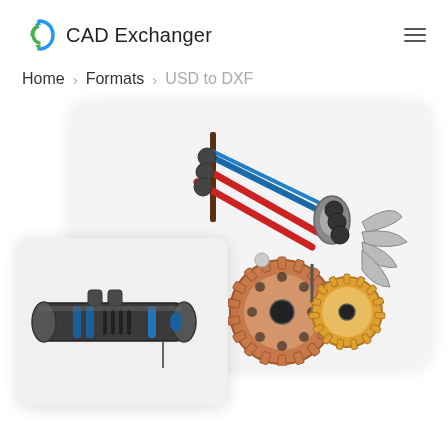[Figure (logo): CAD Exchanger logo — blue/green swirl icon with text 'CAD Exchanger']
≡
Home > Formats > USD to DXF
[Figure (screenshot): Two overlapping card panels showing 3D CAD engineering models: a robotic arm mechanism with gears (large card, top-right) and a cylindrical mechanical assembly (small card, bottom-left overlapping)]